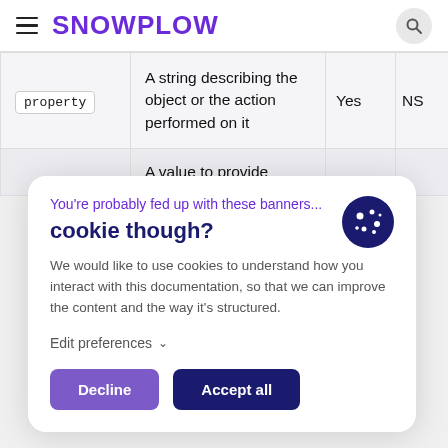SNOWPLOW
|  | Description | Required | NS |
| --- | --- | --- | --- |
| property | A string describing the object or the action performed on it | Yes | NS |
|  | A value to provide... |  |  |
You're probably fed up with these banners...
cookie though?
We would like to use cookies to understand how you interact with this documentation, so that we can improve the content and the way it's structured.
Edit preferences
Decline
Accept all